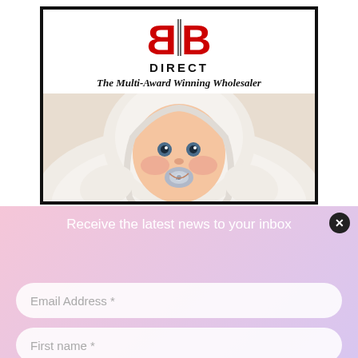[Figure (logo): BB Direct logo with red mirrored B letters and DIRECT text below]
The Multi-Award Winning Wholesaler
[Figure (photo): Baby in white fluffy hooded suit with a pacifier, looking at camera]
Receive the latest news to your inbox
Email Address *
First name *